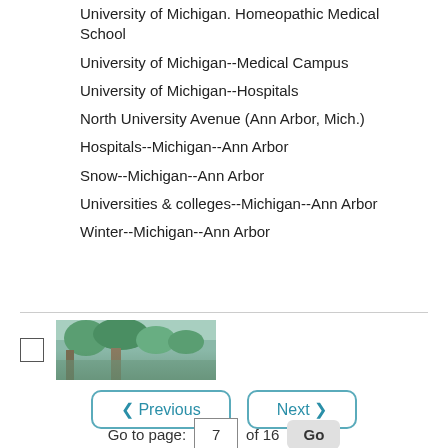University of Michigan. Homeopathic Medical School
University of Michigan--Medical Campus
University of Michigan--Hospitals
North University Avenue (Ann Arbor, Mich.)
Hospitals--Michigan--Ann Arbor
Snow--Michigan--Ann Arbor
Universities & colleges--Michigan--Ann Arbor
Winter--Michigan--Ann Arbor
[Figure (photo): Thumbnail image of a building or campus scene with trees]
< Previous   Next >   Go to page: 7 of 16  Go